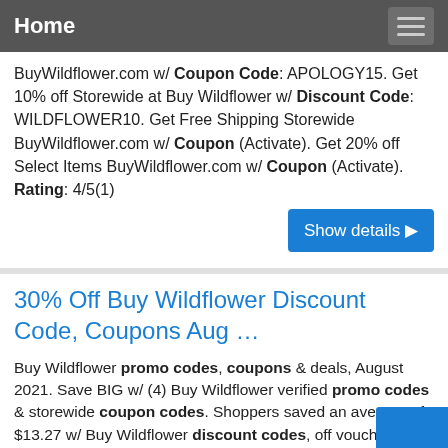Home
BuyWildflower.com w/ Coupon Code: APOLOGY15. Get 10% off Storewide at Buy Wildflower w/ Discount Code: WILDFLOWER10. Get Free Shipping Storewide BuyWildflower.com w/ Coupon (Activate). Get 20% off Select Items BuyWildflower.com w/ Coupon (Activate). Rating: 4/5(1)
Show details ▶
30% Off Buy Wildflower Discount Code, Coupons Aug …
Buy Wildflower promo codes, coupons & deals, August 2021. Save BIG w/ (4) Buy Wildflower verified promo codes & storewide coupon codes. Shoppers saved an average of $13.27 w/ Buy Wildflower discount codes, off vouchers, free shipping deals. Buy Wildflower military &